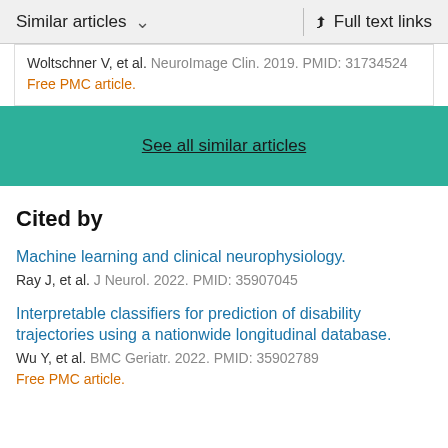Similar articles  ∨  Full text links
Woltschner V, et al. NeuroImage Clin. 2019. PMID: 31734524
Free PMC article.
See all similar articles
Cited by
Machine learning and clinical neurophysiology.
Ray J, et al. J Neurol. 2022. PMID: 35907045
Interpretable classifiers for prediction of disability trajectories using a nationwide longitudinal database.
Wu Y, et al. BMC Geriatr. 2022. PMID: 35902789
Free PMC article.